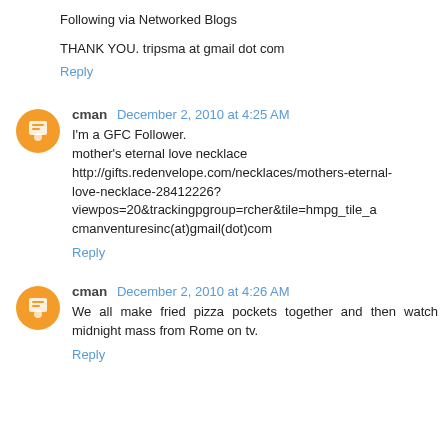Following via Networked Blogs
THANK YOU. tripsma at gmail dot com
Reply
cman  December 2, 2010 at 4:25 AM
I'm a GFC Follower.
mother's eternal love necklace
http://gifts.redenvelope.com/necklaces/mothers-eternal-love-necklace-28412226?viewpos=20&trackingpgroup=rcher&tile=hmpg_tile_a
cmanventuresinc(at)gmail(dot)com
Reply
cman  December 2, 2010 at 4:26 AM
We all make fried pizza pockets together and then watch midnight mass from Rome on tv.
Reply